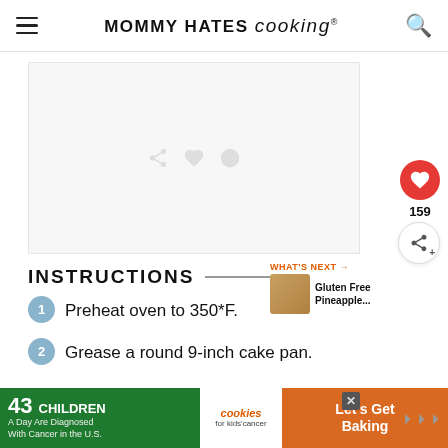MOMMY HATES cooking®
[Figure (screenshot): Blank/white image placeholder area with faint watermark icons]
INSTRUCTIONS
Preheat oven to 350*F.
Grease a round 9-inch cake pan.
[Figure (photo): WHAT'S NEXT thumbnail image for Gluten Free Pineapple...]
WHAT'S NEXT → Gluten Free Pineapple...
[Figure (infographic): Advertisement banner: 43 CHILDREN A Day Are Diagnosed With Cancer in the U.S. — cookies for kids cancer — Let's Get Baking]